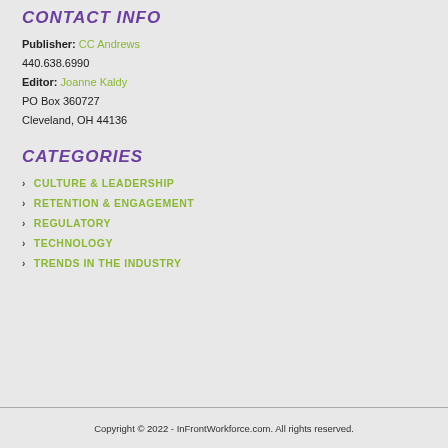CONTACT INFO
Publisher: CC Andrews
440.638.6990
Editor: Joanne Kaldy
PO Box 360727
Cleveland, OH 44136
CATEGORIES
CULTURE & LEADERSHIP
RETENTION & ENGAGEMENT
REGULATORY
TECHNOLOGY
TRENDS IN THE INDUSTRY
Copyright © 2022 - InFrontWorkforce.com. All rights reserved.